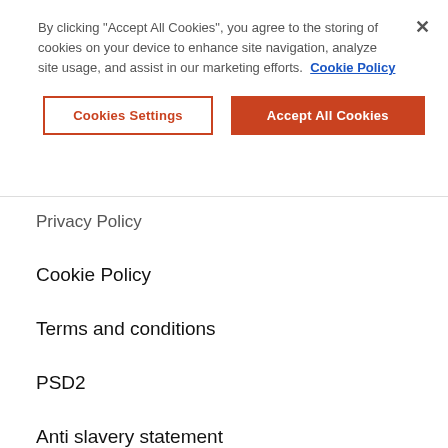By clicking "Accept All Cookies", you agree to the storing of cookies on your device to enhance site navigation, analyze site usage, and assist in our marketing efforts.  Cookie Policy
[Figure (screenshot): Cookie consent buttons: 'Cookies Settings' (outlined red-orange) and 'Accept All Cookies' (solid red-orange)]
Privacy Policy
Cookie Policy
Terms and conditions
PSD2
Anti slavery statement